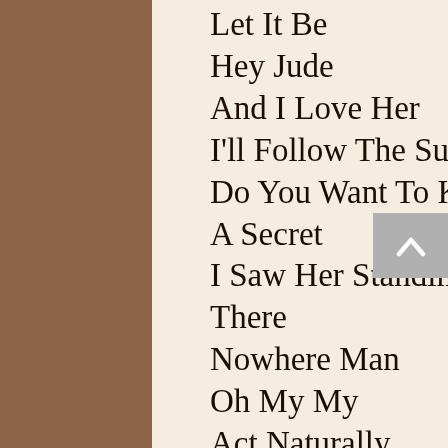Let It Be
Hey Jude
And I Love Her
I'll Follow The Sun
Do You Want To Know A Secret
I Saw Her Standing There
Nowhere Man
Oh My My
Act Naturally
Photograph